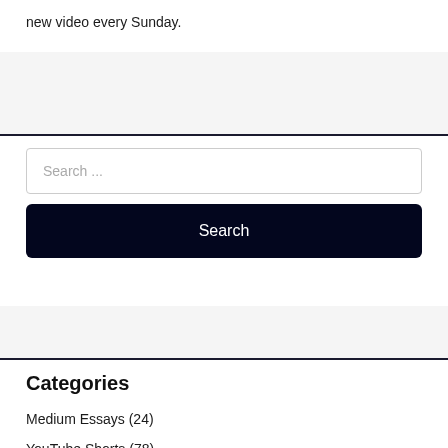new video every Sunday.
[Figure (other): Gray banner/advertisement area]
[Figure (other): Search input field with placeholder 'Search ...' and a dark Search button]
[Figure (other): Gray banner area below search]
Categories
Medium Essays (24)
YouTube Shorts (78)